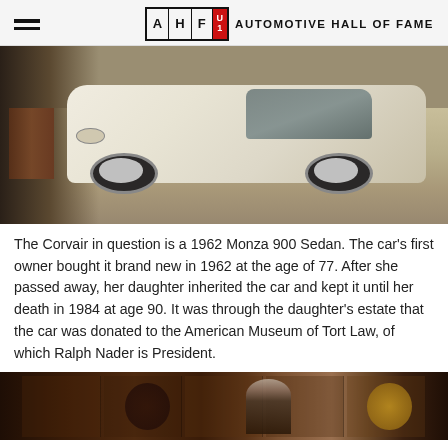AHF U1 — AUTOMOTIVE HALL OF FAME
[Figure (photo): A cream/white 1962 Chevrolet Corvair Monza 900 Sedan parked inside a barn or garage, viewed from the front-left angle. The car has a flat tire and sits on a wooden floor.]
The Corvair in question is a 1962 Monza 900 Sedan. The car's first owner bought it brand new in 1962 at the age of 77. After she passed away, her daughter inherited the car and kept it until her death in 1984 at age 90. It was through the daughter's estate that the car was donated to the American Museum of Tort Law, of which Ralph Nader is President.
[Figure (photo): An indoor photo of a man in a suit standing in what appears to be a library or office with bookshelves and dart boards visible in the background.]